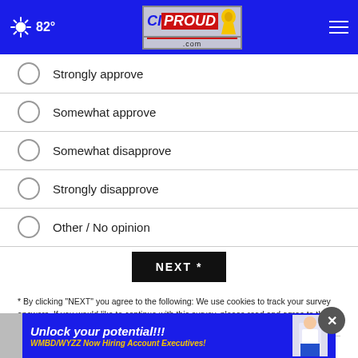82° CIPROUD.com
Strongly approve
Somewhat approve
Somewhat disapprove
Strongly disapprove
Other / No opinion
NEXT *
* By clicking "NEXT" you agree to the following: We use cookies to track your survey answers. If you would like to continue with this survey, please read and agree to the CivicScience Privacy Policy and Terms of Service
TOP STORIES ►
[Figure (screenshot): Bottom advertisement banner: 'Unlock your potential!!!' with subtitle 'WMBD/WYZZ Now Hiring Account Executives!' on blue background with yellow text and a person illustration]